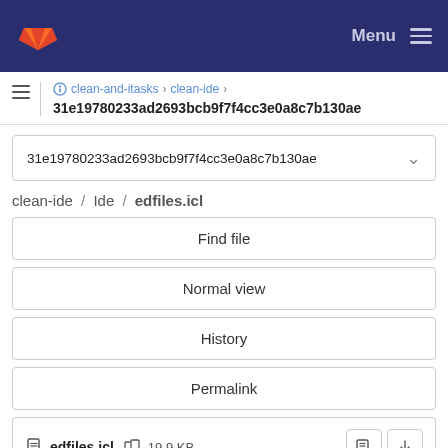Menu
clean-and-itasks > clean-ide > 31e19780233ad2693bcb9f7f4cc3e0a8c7b130ae
31e19780233ad2693bcb9f7f4cc3e0a8c7b130ae
clean-ide / Ide / edfiles.icl
Find file
Normal view
History
Permalink
edfiles.icl  19.9 KB
Newer  Older